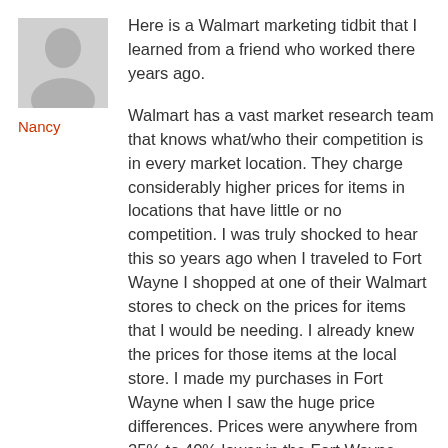[Figure (illustration): Generic user avatar placeholder image (grey silhouette of a person)]
Nancy
Here is a Walmart marketing tidbit that I learned from a friend who worked there years ago.

Walmart has a vast market research team that knows what/who their competition is in every market location. They charge considerably higher prices for items in locations that have little or no competition. I was truly shocked to hear this so years ago when I traveled to Fort Wayne I shopped at one of their Walmart stores to check on the prices for items that I would be needing. I already knew the prices for those items at the local store. I made my purchases in Fort Wayne when I saw the huge price differences. Prices were anywhere from 25% to 40% lower in the Fort Wayne